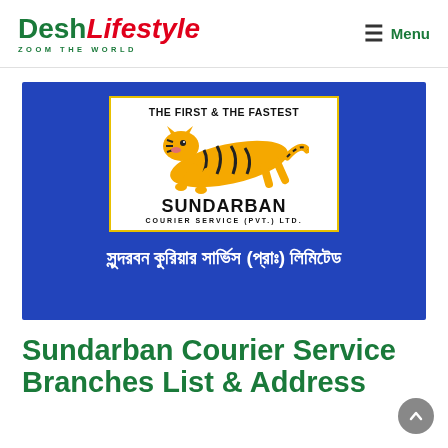DeshLifestyle ZOOM THE WORLD — Menu
[Figure (logo): Sundarban Courier Service (Pvt.) Ltd. logo on blue background. White box with tiger leaping, text THE FIRST & THE FASTEST above, SUNDARBAN in large letters below, COURIER SERVICE (PVT.) LTD. in smaller letters, surrounded by yellow border. Below the box, Bengali text in white: সুন্দরবন কুরিয়ার সার্ভিস (প্রাঃ) লিমিটেড]
Sundarban Courier Service Branches List & Address